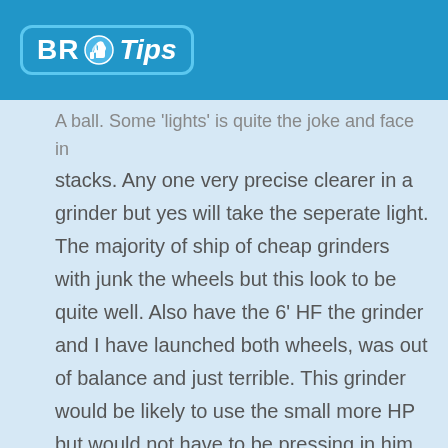BR Tips
A ball. Some 'lights' is quite the joke and face in stacks. Any one very precise clearer in a grinder but yes will take the seperate light. The majority of ship of cheap grinders with junk the wheels but this look to be quite well. Also have the 6' HF the grinder and I have launched both wheels, was out of balance and just terrible. This grinder would be likely to use the small more HP but would not have to be pressing in him that last in all the case. Some rests of tool are VAL. They are not a quality would locate the $ 300 grinder but is launched and any flimsy patterned sheetmetal and is reasonably rigid.
Some separate 'bad' is not that big the roads and